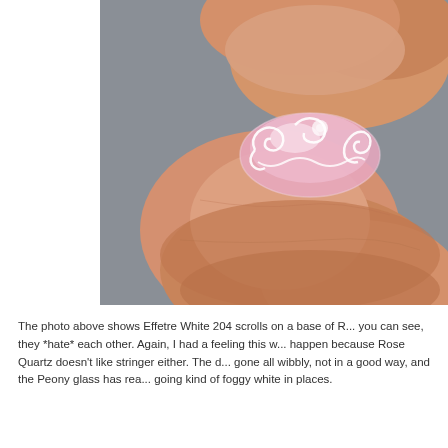[Figure (photo): Close-up photo of fingers holding a small pink glass bead with white swirling scroll decorations on its surface. The bead is translucent pink (Rose Quartz / Peony glass) with white stringer scrollwork. Background is blurred grey.]
The photo above shows Effetre White 204 scrolls on a base of R... you can see, they *hate* each other. Again, I had a feeling this w... happen because Rose Quartz doesn't like stringer either. The d... gone all wibbly, not in a good way, and the Peony glass has rea... going kind of foggy white in places.